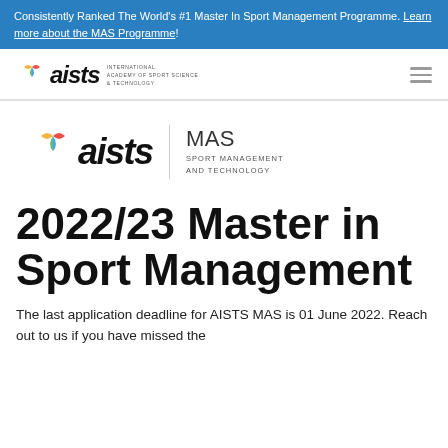Consistently Ranked The World's #1 Master In Sport Management Programme. Learn more about the MAS Programme!
[Figure (logo): AISTS International Academy of Sport Science & Technology logo in navigation bar]
[Figure (logo): AISTS MAS Sport Management and Technology combined logo]
2022/23 Master in Sport Management
The last application deadline for AISTS MAS is 01 June 2022. Reach out to us if you have missed the